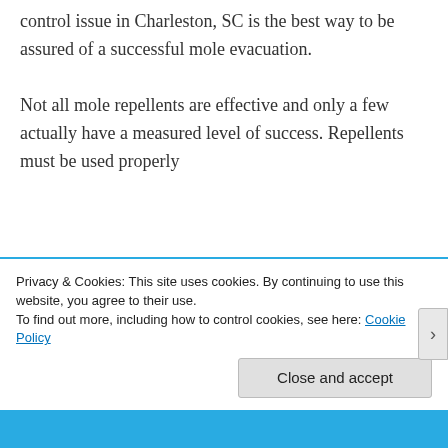control issue in Charleston, SC is the best way to be assured of a successful mole evacuation.
Not all mole repellents are effective and only a few actually have a measured level of success. Repellents must be used properly
Privacy & Cookies: This site uses cookies. By continuing to use this website, you agree to their use.
To find out more, including how to control cookies, see here: Cookie Policy